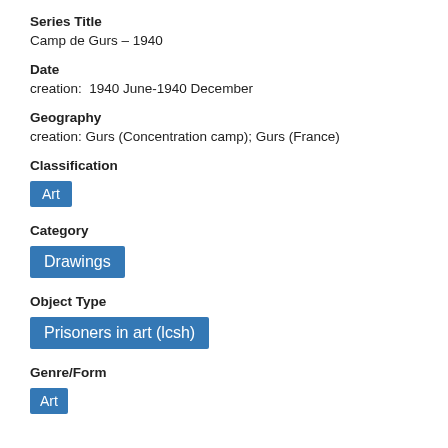Series Title
Camp de Gurs – 1940
Date
creation:  1940 June-1940 December
Geography
creation: Gurs (Concentration camp); Gurs (France)
Classification
Art
Category
Drawings
Object Type
Prisoners in art (lcsh)
Genre/Form